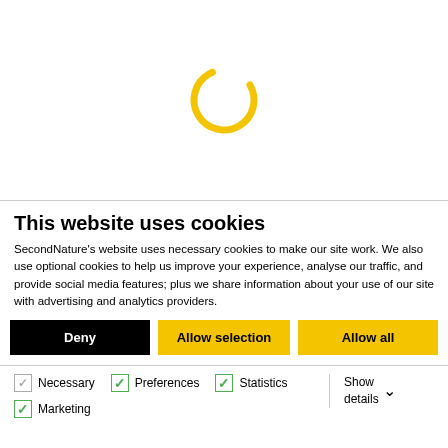[Figure (other): Loading spinner: a circular arc in golden/yellow color, partially complete, indicating a loading state]
This website uses cookies
SecondNature's website uses necessary cookies to make our site work. We also use optional cookies to help us improve your experience, analyse our traffic, and provide social media features; plus we share information about your use of our site with advertising and analytics providers.
Deny | Allow selection | Allow all
Necessary  Preferences  Statistics  Show details  Marketing